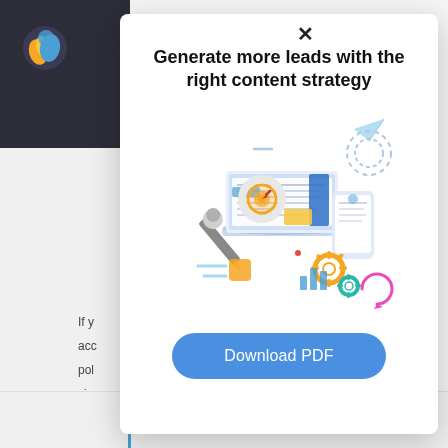[Figure (screenshot): Background page with navigation bar, logo, partial text content, and bottom bar with text 'develop strong organizational skills and excellent']
Generate more leads with the right content strategy
[Figure (illustration): Isometric illustration of content marketing concept: laptop, documents, pencil, target/bullseye, smartphone, gears, paper airplane, circular arrows, bar chart icons]
Download PDF